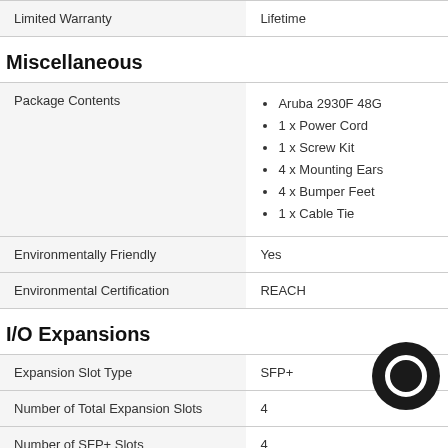|  |  |
| --- | --- |
| Limited Warranty | Lifetime |
Miscellaneous
| Package Contents |  |
| --- | --- |
| Package Contents | Aruba 2930F 48G
1 x Power Cord
1 x Screw Kit
4 x Mounting Ears
4 x Bumper Feet
1 x Cable Tie |
| Environmentally Friendly | Yes |
| Environmental Certification | REACH |
I/O Expansions
|  |  |
| --- | --- |
| Expansion Slot Type | SFP+ |
| Number of Total Expansion Slots | 4 |
| Number of SFP+ Slots | 4 |